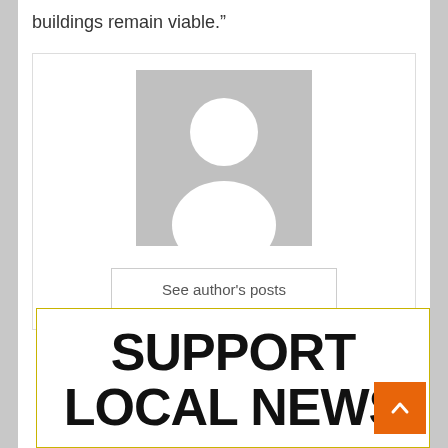buildings remain viable.”
[Figure (illustration): Generic author avatar placeholder image showing a silhouette of a person (head and shoulders) in white on a grey background]
See author's posts
SUPPORT LOCAL NEWS